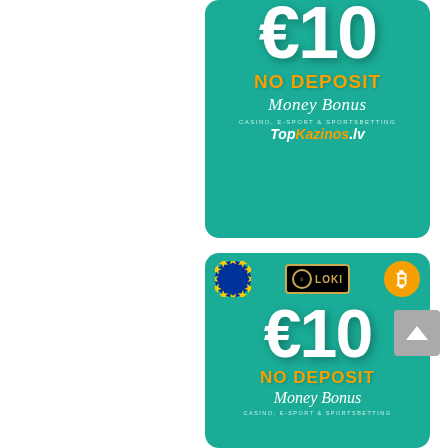[Figure (infographic): Top promotional banner for TopKazinos.lv: teal/green rounded rectangle with large white €10, orange 'NO DEPOSIT' text, white italic 'Money Bonus', small text 'CASINO, E-SPORT & SPORTSBETTING', and the TopKazinos.lv logo.]
[Figure (infographic): Bottom promotional banner for Loki casino: teal/green rounded rectangle with EU flag, Loki logo, Bitcoin icon, large white €10, orange 'NO DEPOSIT' text, white italic 'Money Bonus', small text 'CASINO, E-SPORT & SPORTSBETTING'.]